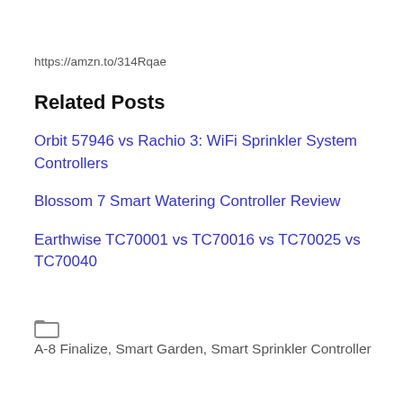https://amzn.to/314Rqae
Related Posts
Orbit 57946 vs Rachio 3: WiFi Sprinkler System Controllers
Blossom 7 Smart Watering Controller Review
Earthwise TC70001 vs TC70016 vs TC70025 vs TC70040
A-8 Finalize, Smart Garden, Smart Sprinkler Controller